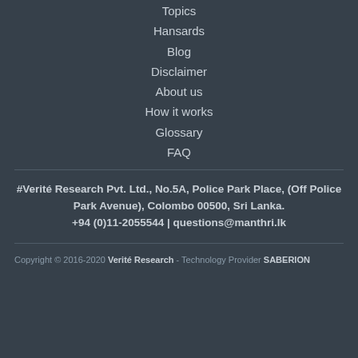Topics
Hansards
Blog
Disclaimer
About us
How it works
Glossary
FAQ
#Verité Research Pvt. Ltd., No.5A, Police Park Place, (Off Police Park Avenue), Colombo 00500, Sri Lanka.
+94 (0)11-2055544 | questions@manthri.lk
Copyright © 2016-2020 Verité Research - Technology Provider SABERION